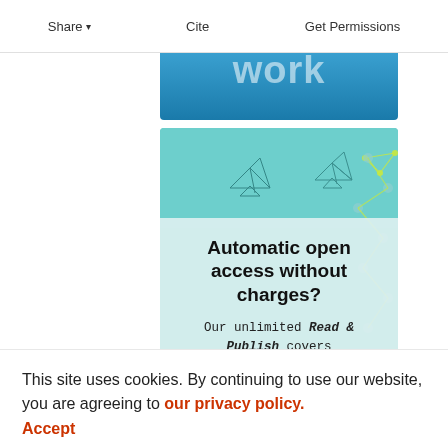Share  Cite  Get Permissions
[Figure (illustration): Blue banner with 'Submit your work' text overlaid in white]
[Figure (infographic): Promotional box with teal background, origami birds, geometric network pattern, and text: 'Automatic open access without charges? Our unlimited Read & Publish covers all OA charges for authors at participating institutions']
This site uses cookies. By continuing to use our website, you are agreeing to our privacy policy. Accept